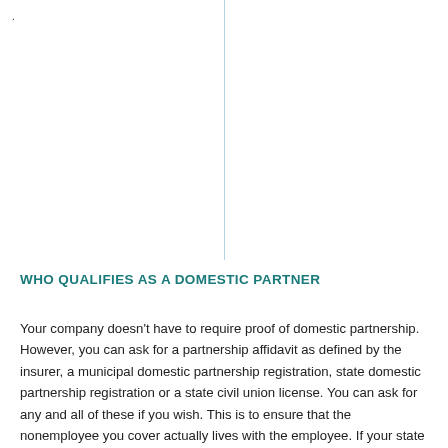WHO QUALIFIES AS A DOMESTIC PARTNER
Your company doesn't have to require proof of domestic partnership. However, you can ask for a partnership affidavit as defined by the insurer, a municipal domestic partnership registration, state domestic partnership registration or a state civil union license. You can ask for any and all of these if you wish. This is to ensure that the nonemployee you cover actually lives with the employee. If your state does not recognize civil unions from other states, you may do so if you wish.